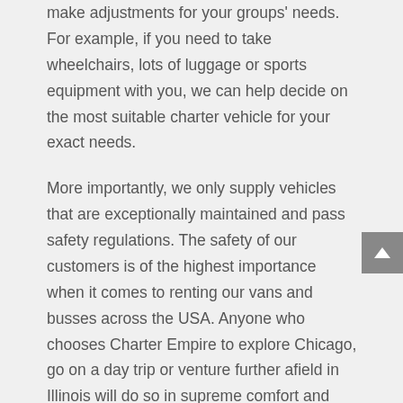make adjustments for your groups' needs. For example, if you need to take wheelchairs, lots of luggage or sports equipment with you, we can help decide on the most suitable charter vehicle for your exact needs.
More importantly, we only supply vehicles that are exceptionally maintained and pass safety regulations. The safety of our customers is of the highest importance when it comes to renting our vans and busses across the USA. Anyone who chooses Charter Empire to explore Chicago, go on a day trip or venture further afield in Illinois will do so in supreme comfort and with the peace of mind that they are traveling safely. Not to forget that all our vehicles are immaculately clean inside and out. Getting to your destination has never been more seamless, comfortable, stylish and convenient – if you choose Charter